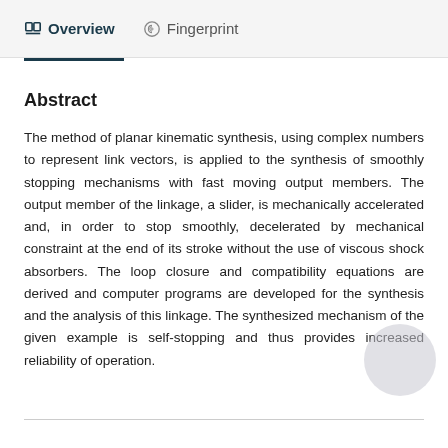Overview   Fingerprint
Abstract
The method of planar kinematic synthesis, using complex numbers to represent link vectors, is applied to the synthesis of smoothly stopping mechanisms with fast moving output members. The output member of the linkage, a slider, is mechanically accelerated and, in order to stop smoothly, decelerated by mechanical constraint at the end of its stroke without the use of viscous shock absorbers. The loop closure and compatibility equations are derived and computer programs are developed for the synthesis and the analysis of this linkage. The synthesized mechanism of the given example is self-stopping and thus provides increased reliability of operation.